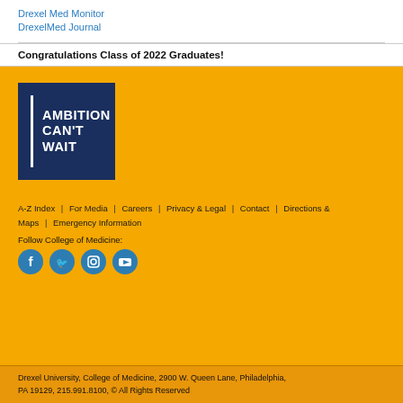Drexel Med Monitor
DrexelMed Journal
Congratulations Class of 2022 Graduates!
[Figure (logo): Drexel University Ambition Can't Wait logo — dark navy blue square with a white vertical bar on the left and bold white text reading AMBITION CAN'T WAIT on a gold background]
A-Z Index | For Media | Careers | Privacy & Legal | Contact | Directions & Maps | Emergency Information
Follow College of Medicine:
Drexel University, College of Medicine, 2900 W. Queen Lane, Philadelphia, PA 19129, 215.991.8100, © All Rights Reserved